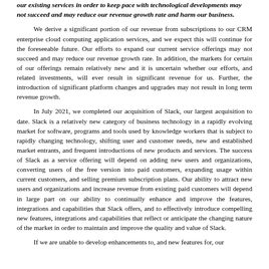our existing services in order to keep pace with technological developments may not succeed and may reduce our revenue growth rate and harm our business.
We derive a significant portion of our revenue from subscriptions to our CRM enterprise cloud computing application services, and we expect this will continue for the foreseeable future. Our efforts to expand our current service offerings may not succeed and may reduce our revenue growth rate. In addition, the markets for certain of our offerings remain relatively new and it is uncertain whether our efforts, and related investments, will ever result in significant revenue for us. Further, the introduction of significant platform changes and upgrades may not result in long term revenue growth.
In July 2021, we completed our acquisition of Slack, our largest acquisition to date. Slack is a relatively new category of business technology in a rapidly evolving market for software, programs and tools used by knowledge workers that is subject to rapidly changing technology, shifting user and customer needs, new and established market entrants, and frequent introductions of new products and services. The success of Slack as a service offering will depend on adding new users and organizations, converting users of the free version into paid customers, expanding usage within current customers, and selling premium subscription plans. Our ability to attract new users and organizations and increase revenue from existing paid customers will depend in large part on our ability to continually enhance and improve the features, integrations and capabilities that Slack offers, and to effectively introduce compelling new features, integrations and capabilities that reflect or anticipate the changing nature of the market in order to maintain and improve the quality and value of Slack.
If we are unable to develop enhancements to, and new features for, our existing services in order to keep pace with technological developments...